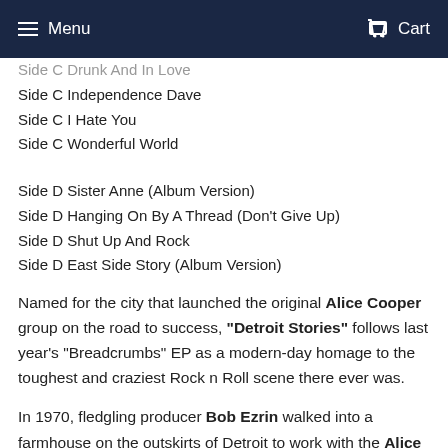Menu  Cart
Side C Drunk And In Love
Side C Independence Dave
Side C I Hate You
Side C Wonderful World
Side D Sister Anne (Album Version)
Side D Hanging On By A Thread (Don't Give Up)
Side D Shut Up And Rock
Side D East Side Story (Album Version)
Named for the city that launched the original Alice Cooper group on the road to success, "Detroit Stories" follows last year's "Breadcrumbs" EP as a modern-day homage to the toughest and craziest Rock n Roll scene there ever was.
In 1970, fledgling producer Bob Ezrin walked into a farmhouse on the outskirts of Detroit to work with the Alice Cooper band. Abandoning flower power Los Angeles, because they were the opposite of the hippie peace and love ideal, Alice had brought his decidedly darker gang back to his